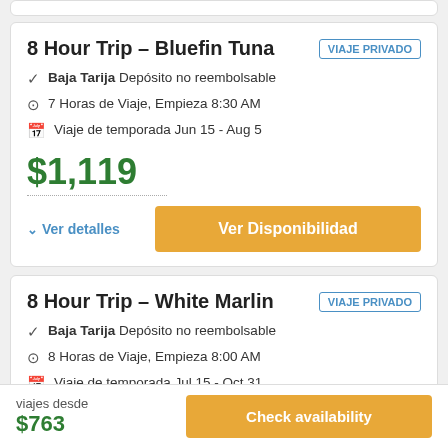8 Hour Trip – Bluefin Tuna
VIAJE PRIVADO
Baja Tarija Depósito no reembolsable
7 Horas de Viaje, Empieza 8:30 AM
Viaje de temporada Jun 15 - Aug 5
$1,119
Ver detalles
Ver Disponibilidad
8 Hour Trip – White Marlin
VIAJE PRIVADO
Baja Tarija Depósito no reembolsable
8 Horas de Viaje, Empieza 8:00 AM
Viaje de temporada Jul 15 - Oct 31
viajes desde
$763
Check availability